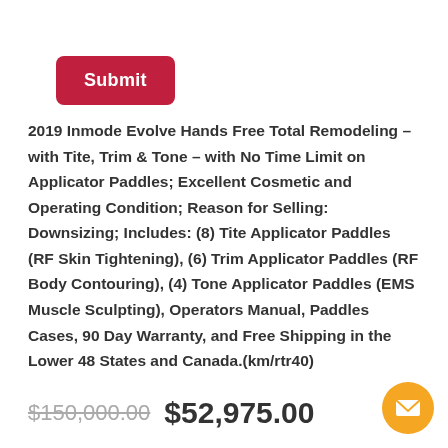[Figure (other): Red submit button]
2019 Inmode Evolve Hands Free Total Remodeling – with Tite, Trim & Tone – with No Time Limit on Applicator Paddles; Excellent Cosmetic and Operating Condition; Reason for Selling: Downsizing; Includes: (8) Tite Applicator Paddles (RF Skin Tightening), (6) Trim Applicator Paddles (RF Body Contouring), (4) Tone Applicator Paddles (EMS Muscle Sculpting), Operators Manual, Paddles Cases, 90 Day Warranty, and Free Shipping in the Lower 48 States and Canada.(km/rtr40)
$150,000.00 $52,975.00